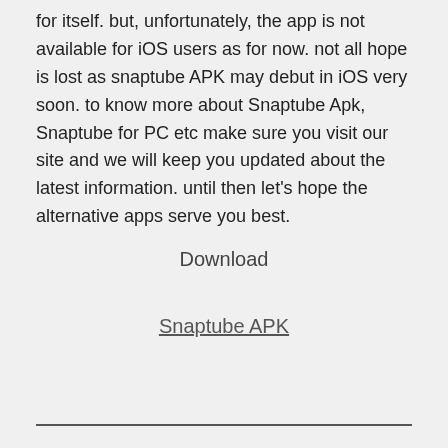for itself. but, unfortunately, the app is not available for iOS users as for now. not all hope is lost as snaptube APK may debut in iOS very soon. to know more about Snaptube Apk, Snaptube for PC etc make sure you visit our site and we will keep you updated about the latest information. until then let's hope the alternative apps serve you best.
Download
Snaptube APK